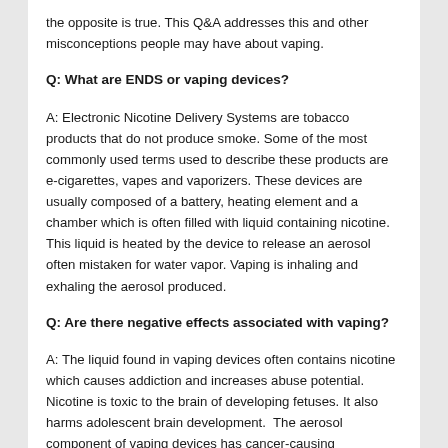the opposite is true. This Q&A addresses this and other misconceptions people may have about vaping.
Q: What are ENDS or vaping devices?
A: Electronic Nicotine Delivery Systems are tobacco products that do not produce smoke. Some of the most commonly used terms used to describe these products are e-cigarettes, vapes and vaporizers. These devices are usually composed of a battery, heating element and a chamber which is often filled with liquid containing nicotine.  This liquid is heated by the device to release an aerosol often mistaken for water vapor. Vaping is inhaling and exhaling the aerosol produced.
Q: Are there negative effects associated with vaping?
A: The liquid found in vaping devices often contains nicotine which causes addiction and increases abuse potential.  Nicotine is toxic to the brain of developing fetuses. It also harms adolescent brain development.  The aerosol component of vaping devices has cancer-causing